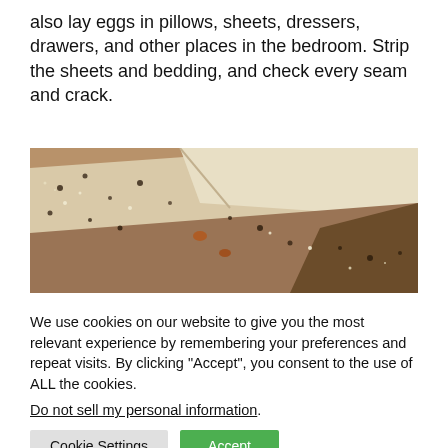also lay eggs in pillows, sheets, dressers, drawers, and other places in the bedroom. Strip the sheets and bedding, and check every seam and crack.
[Figure (photo): Close-up photo of mattress seams and fabric folds showing bed bug infestation with visible bugs, eggs, and dark fecal spots on beige and brown materials.]
We use cookies on our website to give you the most relevant experience by remembering your preferences and repeat visits. By clicking "Accept", you consent to the use of ALL the cookies. Do not sell my personal information.